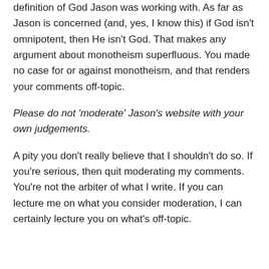definition of God Jason was working with. As far as Jason is concerned (and, yes, I know this) if God isn't omnipotent, then He isn't God. That makes any argument about monotheism superfluous. You made no case for or against monotheism, and that renders your comments off-topic.
Please do not 'moderate' Jason's website with your own judgements.
A pity you don't really believe that I shouldn't do so. If you're serious, then quit moderating my comments. You're not the arbiter of what I write. If you can lecture me on what you consider moderation, I can certainly lecture you on what's off-topic.